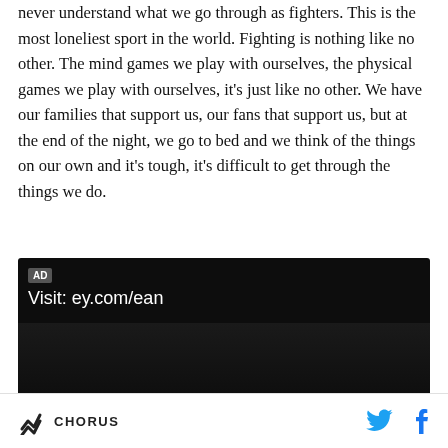never understand what we go through as fighters. This is the most loneliest sport in the world. Fighting is nothing like no other. The mind games we play with ourselves, the physical games we play with ourselves, it's just like no other. We have our families that support us, our fans that support us, but at the end of the night, we go to bed and we think of the things on our own and it's tough, it's difficult to get through the things we do.
[Figure (screenshot): Dark advertisement banner with 'AD' badge and text 'Visit: ey.com/ean' on dark background]
CHORUS — social icons: Twitter, Facebook